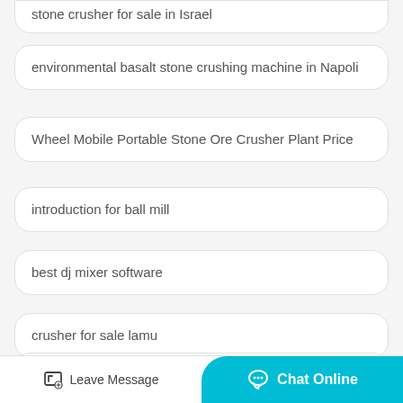stone crusher for sale in Israel
environmental basalt stone crushing machine in Napoli
Wheel Mobile Portable Stone Ore Crusher Plant Price
introduction for ball mill
best dj mixer software
crusher for sale lamu
what is beneficiation plant for iron ore
delta cement plant
Leave Message   Chat Online